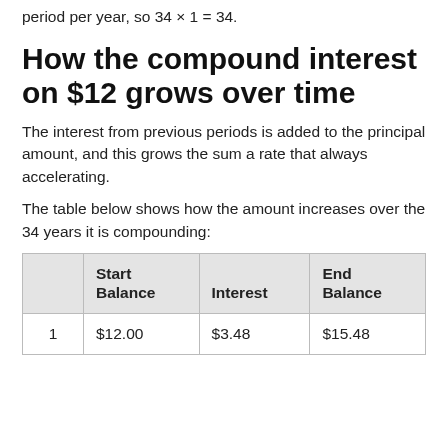period per year, so 34 × 1 = 34.
How the compound interest on $12 grows over time
The interest from previous periods is added to the principal amount, and this grows the sum a rate that always accelerating.
The table below shows how the amount increases over the 34 years it is compounding:
|  | Start Balance | Interest | End Balance |
| --- | --- | --- | --- |
| 1 | $12.00 | $3.48 | $15.48 |